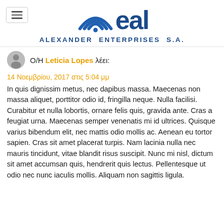[Figure (logo): EAL Alexander Enterprises S.A. logo with wifi/signal arc icon and company name below]
Ο/Η Leticia Lopes λέει:
14 Νοεμβρίου, 2017 στις 5:04 μμ
In quis dignissim metus, nec dapibus massa. Maecenas non massa aliquet, porttitor odio id, fringilla neque. Nulla facilisi. Curabitur et nulla lobortis, ornare felis quis, gravida ante. Cras a feugiat urna. Maecenas semper venenatis mi id ultrices. Quisque varius bibendum elit, nec mattis odio mollis ac. Aenean eu tortor sapien. Cras sit amet placerat turpis. Nam lacinia nulla nec mauris tincidunt, vitae blandit risus suscipit. Nunc mi nisl, dictum sit amet accumsan quis, hendrerit quis lectus. Pellentesque ut odio nec nunc iaculis mollis. Aliquam non sagittis ligula.